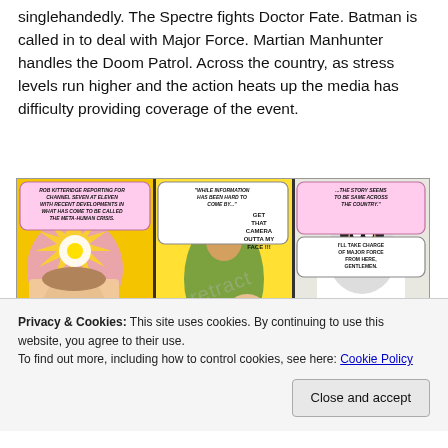singlehandedly. The Spectre fights Doctor Fate. Batman is called in to deal with Major Force. Martian Manhunter handles the Doom Patrol. Across the country, as stress levels run higher and the action heats up the media has difficulty providing coverage of the event.
[Figure (illustration): Three comic book panels: Panel 1 shows a news reporter (Rob Kitteridge) reporting for Channel Seven at Eleven with a pink explosion/energy effect behind him, caption 'AFTER INITIAL'. Panel 2 shows a superhero (Green Arrow/Green Lantern area) with speech bubble 'WHILE INFORMATION HAS BEEN HARD TO COME BY... GET THAT CAMERA OUTTA MY FACE!!!'. Panel 3 shows Batman in white/grey with a speech bubble '...THE STORY SEEMS TO BE SAME ACROSS THE COUNTRY' and text 'I'LL TAKE CHARGE OF MAJOR FORCE FROM HERE, GENTLEMEN.' A faint watermark overlay is visible.]
Privacy & Cookies: This site uses cookies. By continuing to use this website, you agree to their use.
To find out more, including how to control cookies, see here: Cookie Policy